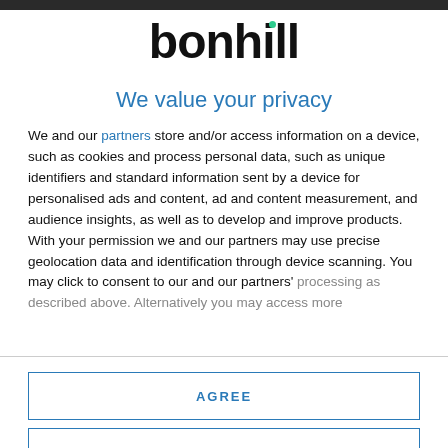[Figure (logo): Bonhill logo — black bold text 'bonhill' with a small teal/green dot above the letter 'i']
We value your privacy
We and our partners store and/or access information on a device, such as cookies and process personal data, such as unique identifiers and standard information sent by a device for personalised ads and content, ad and content measurement, and audience insights, as well as to develop and improve products. With your permission we and our partners may use precise geolocation data and identification through device scanning. You may click to consent to our and our partners' processing as described above. Alternatively you may access more
AGREE
MORE OPTIONS